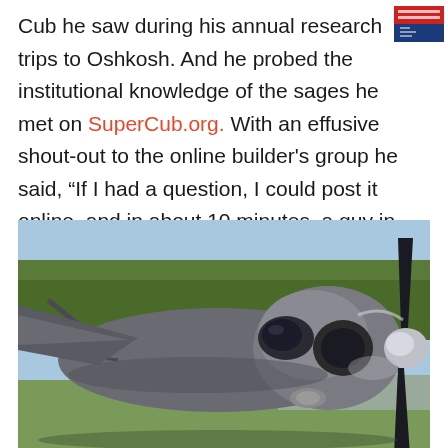[Figure (logo): Small red/blue rectangular logo in top-right corner]
Cub he saw during his annual research trips to Oshkosh. And he probed the institutional knowledge of the sages he met on SuperCub.org. With an effusive shout-out to the online builder's group he said, “If I had a question, I could post it online, and in about 10 minutes, a guy in Alaska would respond and say, ‘you need to do it this way.’”
[Figure (photo): Close-up photograph of a gray/silver bush plane (Super Cub style) showing the cowling, propeller, and front fuselage against a background of trees and grass airfield.]